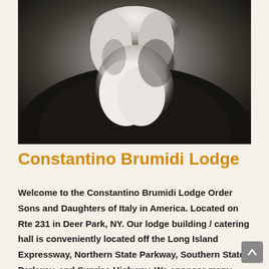[Figure (photo): Black and white portrait photograph of an elderly bearded man, Constantino Brumidi, in dark clothing against a dark background]
Constantino Brumidi Lodge
Welcome to the Constantino Brumidi Lodge Order Sons and Daughters of Italy in America. Located on Rte 231 in Deer Park, NY. Our lodge building / catering hall is conveniently located off the Long Island Expressway, Northern State Parkway, Southern State Parkway, and Sunrise Highway. We sponsor many functions and benefits throughout the year. Many of these